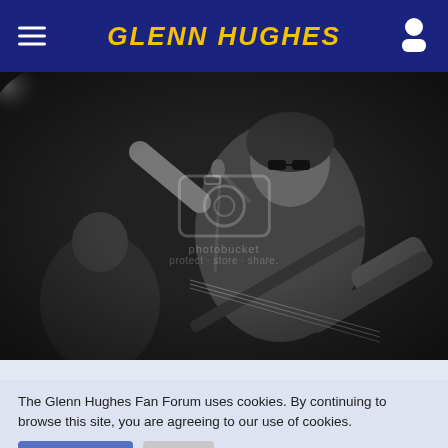GLENN HUGHES
[Figure (photo): Black and white concert photo of a musician singing into a microphone with arm raised and playing bass guitar, with another musician visible in the background. Photobucket watermark overlay visible.]
The Glenn Hughes Fan Forum uses cookies. By continuing to browse this site, you are agreeing to our use of cookies.
More Details   Close